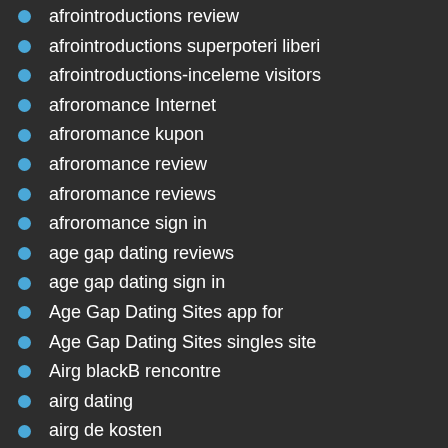afrointroductions review
afrointroductions superpoteri liberi
afrointroductions-inceleme visitors
afroromance Internet
afroromance kupon
afroromance review
afroromance reviews
afroromance sign in
age gap dating reviews
age gap dating sign in
Age Gap Dating Sites app for
Age Gap Dating Sites singles site
Airg blackB rencontre
airg dating
airg de kosten